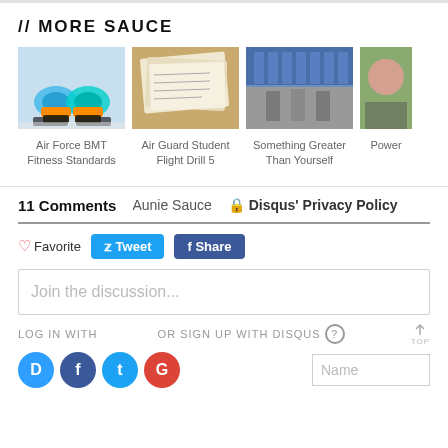// MORE SAUCE
[Figure (photo): Thumbnail of colorful running shoes (cyan/orange) on snow - Air Force BMT Fitness Standards]
Air Force BMT Fitness Standards
[Figure (photo): Thumbnail of handwritten papers/forms on a surface - Air Guard Student Flight Drill 5]
Air Guard Student Flight Drill 5
[Figure (photo): Composite thumbnail of military personnel in uniform - Something Greater Than Yourself]
Something Greater Than Yourself
[Figure (photo): Partial thumbnail of a person - Power (text partially cut off)]
Power
11 Comments   Aunie Sauce   🔒 Disqus' Privacy Policy
♡ Favorite   Tweet   Share
Join the discussion...
LOG IN WITH
OR SIGN UP WITH DISQUS ?
Name